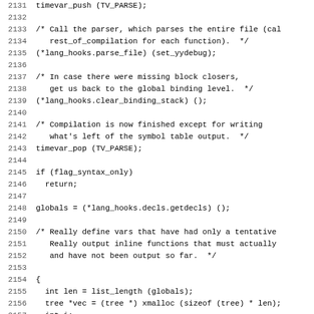Source code listing lines 2131-2162 showing C code with timevar_push, parser calls, lang_hooks, compilation and declaration processing.